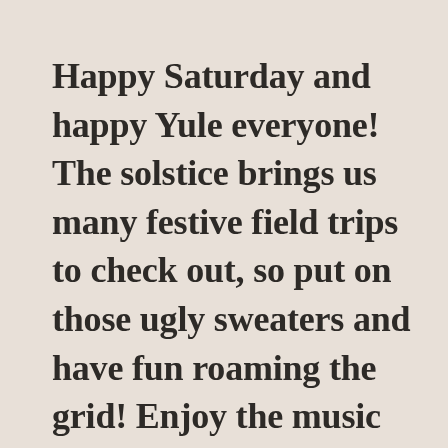Happy Saturday and happy Yule everyone! The solstice brings us many festive field trips to check out, so put on those ugly sweaters and have fun roaming the grid! Enjoy the music with your friends and show these talented artists your appreciation ❄